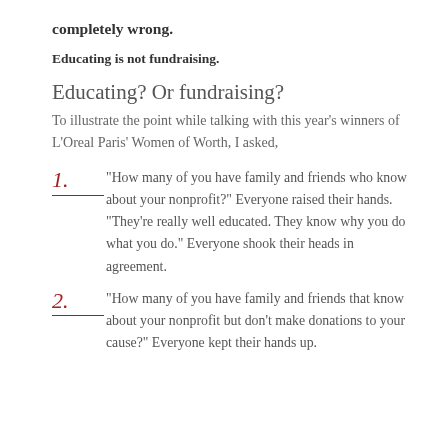completely wrong.
Educating is not fundraising.
Educating? Or fundraising?
To illustrate the point while talking with this year's winners of L'Oreal Paris' Women of Worth, I asked,
“How many of you have family and friends who know about your nonprofit?” Everyone raised their hands. “They’re really well educated. They know why you do what you do.” Everyone shook their heads in agreement.
“How many of you have family and friends that know about your nonprofit but don’t make donations to your cause?” Everyone kept their hands up.